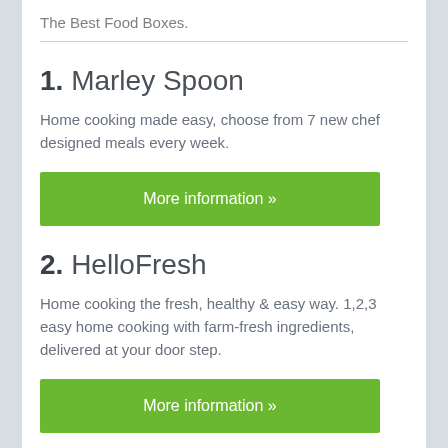The Best Food Boxes.
1. Marley Spoon
Home cooking made easy, choose from 7 new chef designed meals every week.
More information »
2. HelloFresh
Home cooking the fresh, healthy & easy way. 1,2,3 easy home cooking with farm-fresh ingredients, delivered at your door step.
More information »